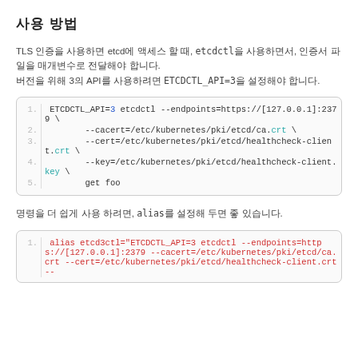사용 방법
TLS 인증을 사용하면 etcd에 액세스 할 때, etcdctl을 사용하면서, 인증서 파일을 매개변수로 전달해야 합니다. 버전을 위해 3의 API를 사용하려면 ETCDCTL_API=3을 설정해야 합니다.
[Figure (screenshot): Code block showing etcdctl command with TLS parameters:
1. ETCDCTL_API=3 etcdctl --endpoints=https://[127.0.0.1]:2379 \
2.     --cacert=/etc/kubernetes/pki/etcd/ca.crt \
3.     --cert=/etc/kubernetes/pki/etcd/healthcheck-client.crt \
4.     --key=/etc/kubernetes/pki/etcd/healthcheck-client.key \
5.     get foo]
명령을 더 쉽게 사용 하려면, alias를 설정해 두면 좋 있습니다.
[Figure (screenshot): Code block showing alias command:
1. alias etcd3ctl="ETCDCTL_API=3 etcdctl --endpoints=https://[127.0.0.1]:2379 --cacert=/etc/kubernetes/pki/etcd/ca.crt --cert=/etc/kubernetes/pki/etcd/healthcheck-client.crt --key=/etc/kubernetes/pki/etcd/healthcheck-client.key]